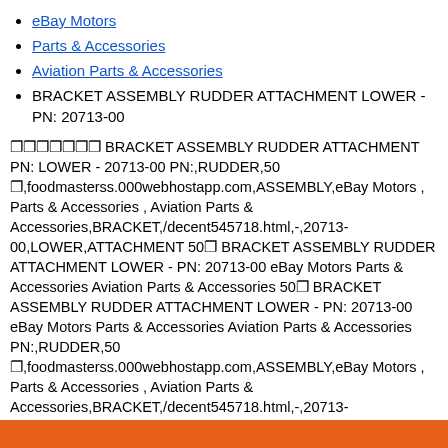eBay Motors
Parts & Accessories
Aviation Parts & Accessories
BRACKET ASSEMBLY RUDDER ATTACHMENT LOWER - PN: 20713-00
❐❐❐❐❐❐❐ BRACKET ASSEMBLY RUDDER ATTACHMENT PN: LOWER - 20713-00 PN:,RUDDER,50 ❐,foodmasterss.000webhostapp.com,ASSEMBLY,eBay Motors , Parts & Accessories , Aviation Parts & Accessories,BRACKET,/decent545718.html,-,20713-00,LOWER,ATTACHMENT 50❐ BRACKET ASSEMBLY RUDDER ATTACHMENT LOWER - PN: 20713-00 eBay Motors Parts & Accessories Aviation Parts & Accessories 50❐ BRACKET ASSEMBLY RUDDER ATTACHMENT LOWER - PN: 20713-00 eBay Motors Parts & Accessories Aviation Parts & Accessories PN:,RUDDER,50 ❐,foodmasterss.000webhostapp.com,ASSEMBLY,eBay Motors , Parts & Accessories , Aviation Parts & Accessories,BRACKET,/decent545718.html,-,20713-00,LOWER,ATTACHMENT ❐❐❐❐❐❐❐ BRACKET ASSEMBLY RUDDER ATTACHMENT PN: LOWER - 20713-00